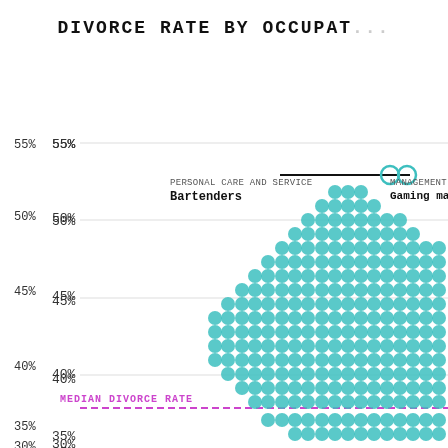DIVORCE RATE BY OCCUPATION
[Figure (bubble-chart): Bubble/dot chart showing divorce rates by occupation. Y-axis ranges from 30% to 55%. A dense cluster of teal dots represents occupations in the 35-51% range. Two highlighted circles near the top indicate Bartenders (Personal Care and Service) and Gaming managers (Management). A dashed purple horizontal line marks the Median Divorce Rate near 37%.]
PERSONAL CARE AND SERVICE
Bartenders
MANAGEMENT
Gaming ma...
MEDIAN DIVORCE RATE